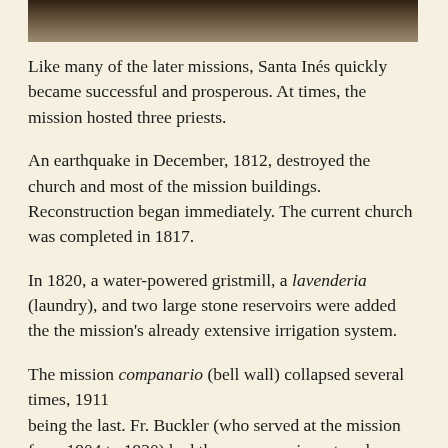[Figure (photo): Top portion of a historical photograph, appears to show a mission or landscape scene in dark sepia tones]
Like many of the later missions, Santa Inés quickly became successful and prosperous. At times, the mission hosted three priests.
An earthquake in December, 1812, destroyed the church and most of the mission buildings. Reconstruction began immediately. The current church was completed in 1817.
In 1820, a water-powered gristmill, a lavenderia (laundry), and two large stone reservoirs were added the the mission's already extensive irrigation system.
The mission companario (bell wall) collapsed several times, 1911 being the last. Fr. Buckler (who served at the mission from 1904 to 1920) had the companario restored shortly after 1911. Unfortunately, the workman made an unauthorized change, and introduced a fourth bell.